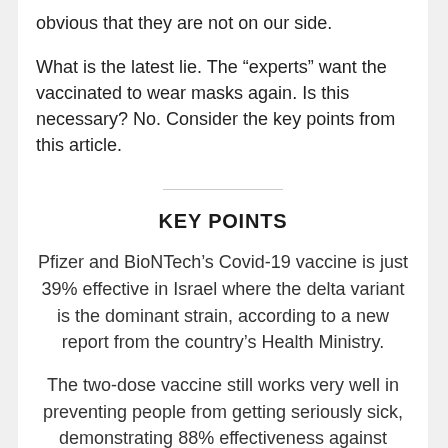obvious that they are not on our side.
What is the latest lie. The “experts” want the vaccinated to wear masks again. Is this necessary? No. Consider the key points from this article.
KEY POINTS
Pfizer and BioNTech’s Covid-19 vaccine is just 39% effective in Israel where the delta variant is the dominant strain, according to a new report from the country’s Health Ministry.
The two-dose vaccine still works very well in preventing people from getting seriously sick, demonstrating 88% effectiveness against hospitalization and 91% effectiveness against severe illness, according to the Israeli data